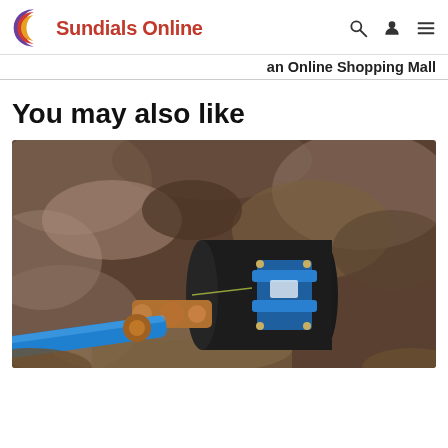Sundials Online — an Online Shopping Mall
You may also like
[Figure (photo): Underground plumbing pipes — a blue plastic pipe connected via brass fittings to a black pipe with a blue metal valve/saddle clamp, set in a dirt and rock excavation, with muddy water visible.]